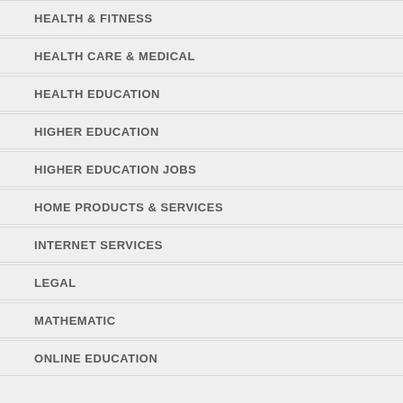HEALTH & FITNESS
HEALTH CARE & MEDICAL
HEALTH EDUCATION
HIGHER EDUCATION
HIGHER EDUCATION JOBS
HOME PRODUCTS & SERVICES
INTERNET SERVICES
LEGAL
MATHEMATIC
ONLINE EDUCATION